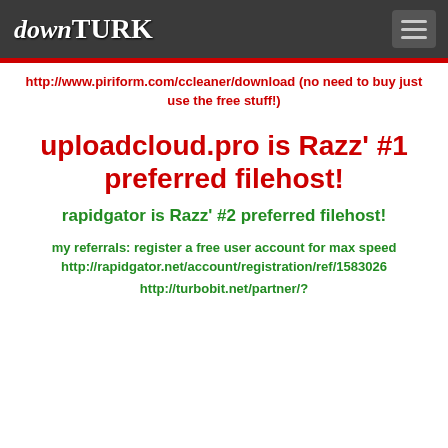downTURK
http://www.piriform.com/ccleaner/download (no need to buy just use the free stuff!)
uploadcloud.pro is Razz' #1 preferred filehost!
rapidgator is Razz' #2 preferred filehost!
my referrals: register a free user account for max speed
http://rapidgator.net/account/registration/ref/1583026
http://turbobit.net/partner/?